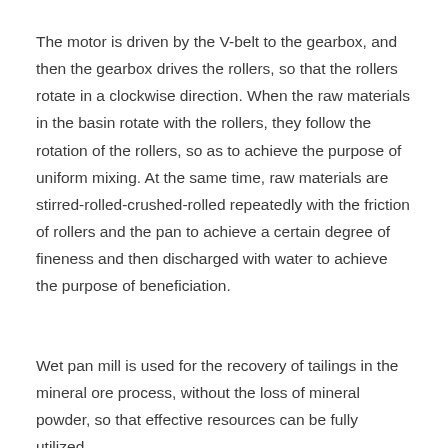The motor is driven by the V-belt to the gearbox, and then the gearbox drives the rollers, so that the rollers rotate in a clockwise direction. When the raw materials in the basin rotate with the rollers, they follow the rotation of the rollers, so as to achieve the purpose of uniform mixing. At the same time, raw materials are stirred-rolled-crushed-rolled repeatedly with the friction of rollers and the pan to achieve a certain degree of fineness and then discharged with water to achieve the purpose of beneficiation.
Wet pan mill is used for the recovery of tailings in the mineral ore process, without the loss of mineral powder, so that effective resources can be fully utilized.